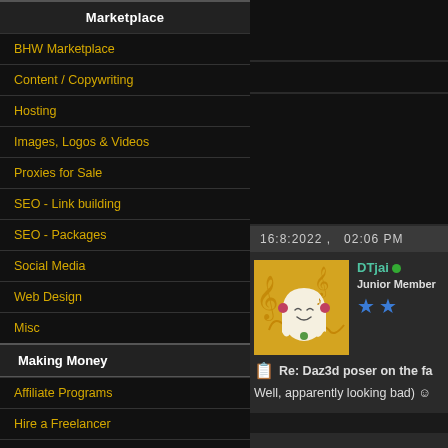Marketplace
BHW Marketplace
Content / Copywriting
Hosting
Images, Logos & Videos
Proxies for Sale
SEO - Link building
SEO - Packages
Social Media
Web Design
Misc
Making Money
Affiliate Programs
Hire a Freelancer
Making Money
Pay Per Click (PPC)
Site Flipping
BlackHatWorld
16:8:2022 ,   02:06 PM
DTjai
Junior Member
Re: Daz3d poser on the fa
Well, apparently looking bad) 🙂